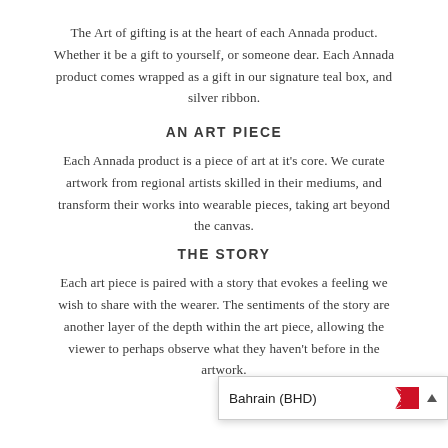The Art of gifting is at the heart of each Annada product. Whether it be a gift to yourself, or someone dear. Each Annada product comes wrapped as a gift in our signature teal box, and silver ribbon.
AN ART PIECE
Each Annada product is a piece of art at it's core. We curate artwork from regional artists skilled in their mediums, and transform their works into wearable pieces, taking art beyond the canvas.
THE STORY
Each art piece is paired with a story that evokes a feeling we wish to share with the wearer. The sentiments of the story are another layer of the depth within the art piece, allowing the viewer to perhaps observe what they haven't before in the artwork.
[Figure (other): Dropdown selector showing Bahrain (BHD) with Bahraini flag and up arrow]